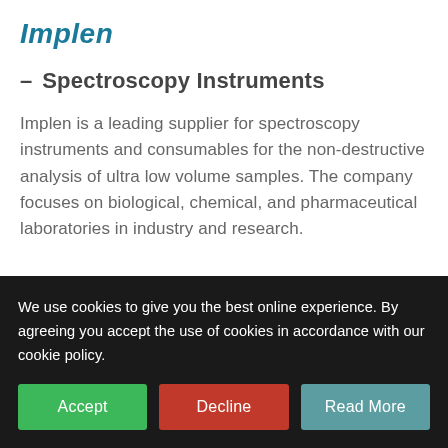Implen
– Spectroscopy Instruments
Implen is a leading supplier for spectroscopy instruments and consumables for the non-destructive analysis of ultra low volume samples. The company focuses on biological, chemical, and pharmaceutical laboratories in industry and research.
We use cookies to give you the best online experience. By agreeing you accept the use of cookies in accordance with our cookie policy.